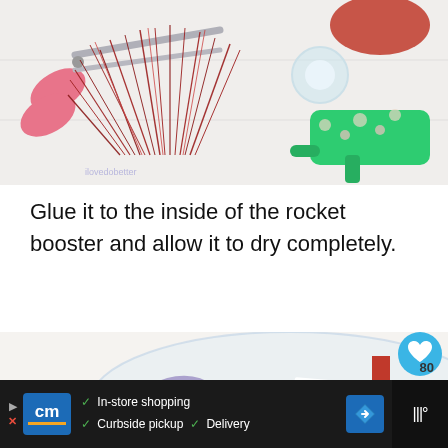[Figure (photo): Craft supplies laid out on a white surface: pink scissors, red metallic tinsel, floral-patterned hot glue gun, clear tape roll, and red balloon piece]
Glue it to the inside of the rocket booster and allow it to dry completely.
[Figure (photo): Close-up overhead view of a glass bowl with red ribbon, a small folded paper note, and craft materials on a white surface]
[Figure (other): Advertisement bar: Curbside Market logo with checkmarks for In-store shopping, Curbside pickup, and Delivery, with navigation arrow icon]